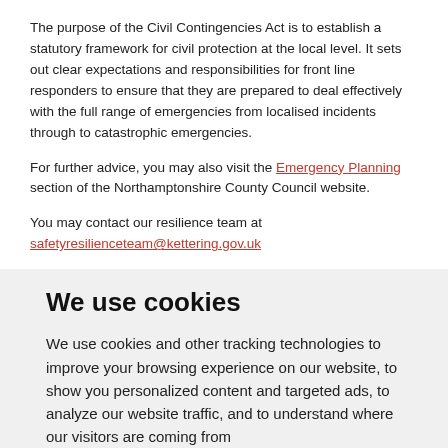The purpose of the Civil Contingencies Act is to establish a statutory framework for civil protection at the local level. It sets out clear expectations and responsibilities for front line responders to ensure that they are prepared to deal effectively with the full range of emergencies from localised incidents through to catastrophic emergencies.
For further advice, you may also visit the Emergency Planning section of the Northamptonshire County Council website.
You may contact our resilience team at safetyresilienceteam@kettering.gov.uk
We use cookies
We use cookies and other tracking technologies to improve your browsing experience on our website, to show you personalized content and targeted ads, to analyze our website traffic, and to understand where our visitors are coming from